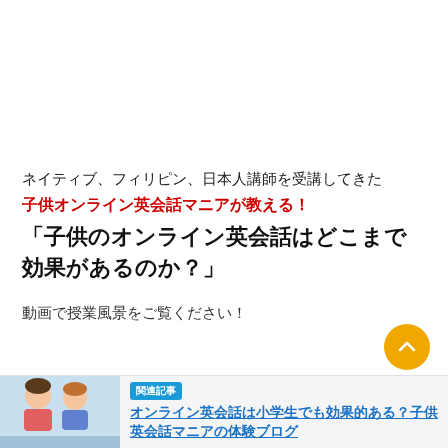ネイティブ、フィリピン、日本人講師を受講してきた
子供オンライン英会話マニアが教える！
「子供のオンライン英会話はどこまで効果があるのか？」
動画で授業風景をご覧ください！
関連記事 オンライン英会話は小学生でも効果的ある？子供英会話マニアの体験ブログ